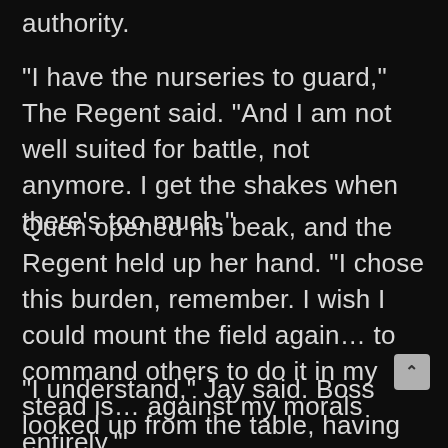authority.
“I have the nurseries to guard,” The Regent said. “And I am not well suited for battle, not anymore. I get the shakes when there’s too much.”
Quen opened his beak, and the Regent held up her hand. “I chose this burden, remember. I wish I could mount the field again… to command others to do it in my stead is… against my morals entirely.”
“I understand,” Jay said. Boss looked up from the table, having not been paying too terribly much attention and stared